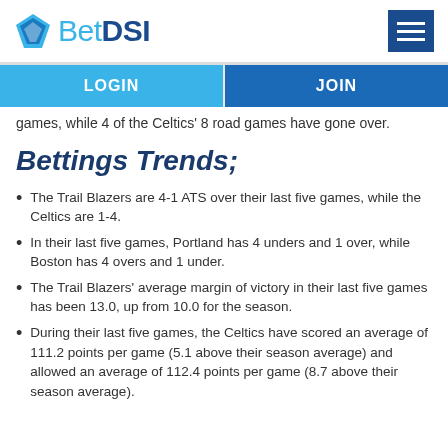BetDSI
games, while 4 of the Celtics' 8 road games have gone over.
Bettings Trends;
The Trail Blazers are 4-1 ATS over their last five games, while the Celtics are 1-4.
In their last five games, Portland has 4 unders and 1 over, while Boston has 4 overs and 1 under.
The Trail Blazers' average margin of victory in their last five games has been 13.0, up from 10.0 for the season.
During their last five games, the Celtics have scored an average of 111.2 points per game (5.1 above their season average) and allowed an average of 112.4 points per game (8.7 above their season average).